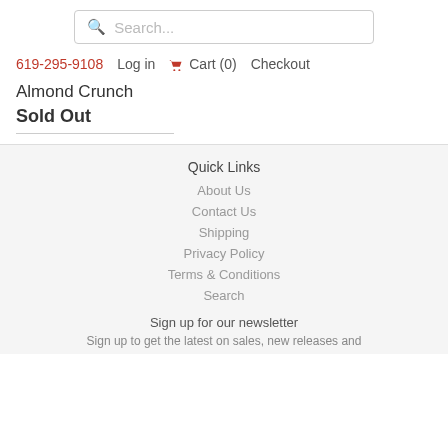Search...
619-295-9108  Log in  Cart (0)  Checkout
Almond Crunch
Sold Out
Quick Links
About Us
Contact Us
Shipping
Privacy Policy
Terms & Conditions
Search
Sign up for our newsletter
Sign up to get the latest on sales, new releases and